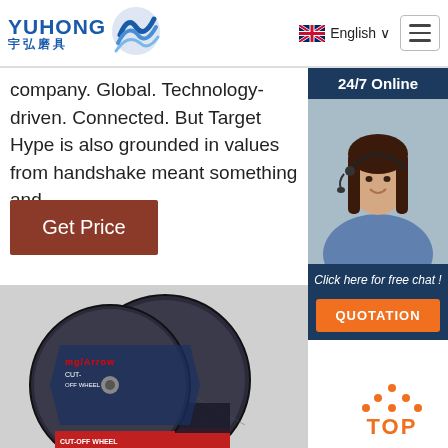[Figure (logo): Yuhong abrasives logo with blue wave/shield icon and Chinese characters 宇弘磨具]
English
company. Global. Technology-driven. Connected. But Target Hype is also grounded in values from handshake meant something and …
Get Price
24/7 Online
[Figure (photo): Customer service agent woman with headset smiling]
Click here for free chat !
QUOTATION
[Figure (photo): Cut-off wheels/abrasive discs product photo showing discs labeled 10200 CUT-OFF WHEEL]
TOP